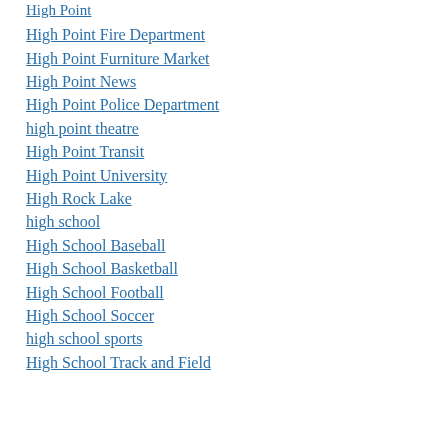High Point
High Point Fire Department
High Point Furniture Market
High Point News
High Point Police Department
high point theatre
High Point Transit
High Point University
High Rock Lake
high school
High School Baseball
High School Basketball
High School Football
High School Soccer
high school sports
High School Track and Field